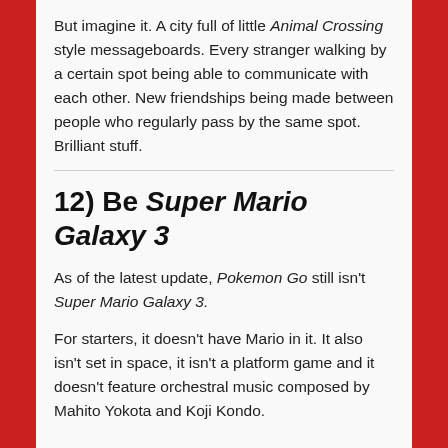But imagine it. A city full of little Animal Crossing style messageboards. Every stranger walking by a certain spot being able to communicate with each other. New friendships being made between people who regularly pass by the same spot. Brilliant stuff.
12) Be Super Mario Galaxy 3
As of the latest update, Pokemon Go still isn't Super Mario Galaxy 3.
For starters, it doesn't have Mario in it. It also isn't set in space, it isn't a platform game and it doesn't feature orchestral music composed by Mahito Yokota and Koji Kondo.